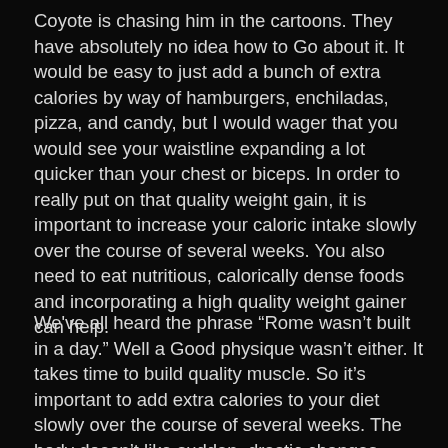Coyote is chasing him in the cartoons. They have absolutely no idea how to Go about it. It would be easy to just add a bunch of extra calories by way of hamburgers, enchiladas, pizza, and candy, but I would wager that you would see your waistline expanding a lot quicker than your chest or biceps. In order to really put on that quality weight gain, it is important to increase your caloric intake slowly over the course of several weeks. You also need to eat nutritious, calorically dense foods and incorporating a high quality weight gainer can help.
We've all heard the phrase “Rome wasn’t built in a day.” Well a Good physique wasn’t either. It takes time to build quality muscle. So it’s important to add extra calories to your diet slowly over the course of several weeks. The body doesn’t like sudden, drastic changes. Increasing your calories from 2000 a day to 5000 a day is a Good way to shock your body into fat storage mode. Instead, try increasing your calories from 2000 to 3000 a day. And then